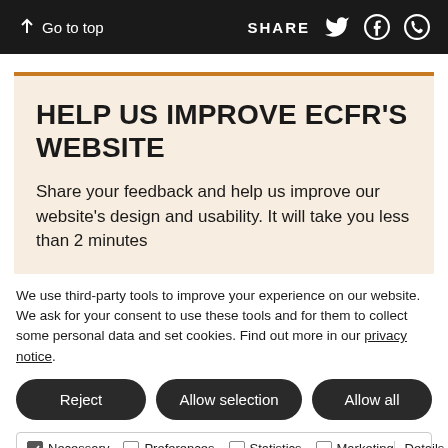↑ Go to top   SHARE
HELP US IMPROVE ECFR'S WEBSITE
Share your feedback and help us improve our website's design and usability. It will take you less than 2 minutes
We use third-party tools to improve your experience on our website. We ask for your consent to use these tools and for them to collect some personal data and set cookies. Find out more in our privacy notice.
Reject | Allow selection | Allow all
Necessary  Preferences  Statistics  Marketing  Details